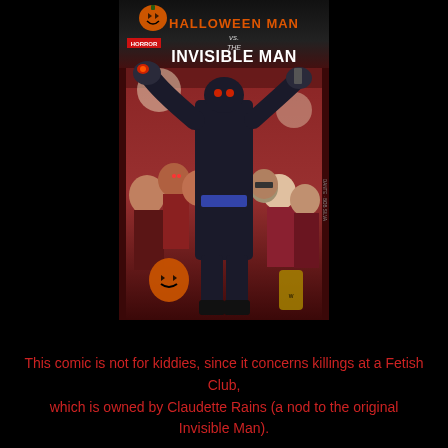[Figure (illustration): Comic book cover: Halloween Man vs. The Invisible Man. A large dark muscular figure in a black suit dominates the center, arms raised, holding objects with red-glowing eyes visible. Background shows various characters in a fetish club setting with reddish-brown tones. A pumpkin logo appears at the top left, with 'HORROR' badge. Title text reads 'HALLOWEEN MAN vs. THE INVISIBLE MAN'.]
This comic is not for kiddies, since it concerns killings at a Fetish Club, which is owned by Claudette Rains (a nod to the original Invisible Man).